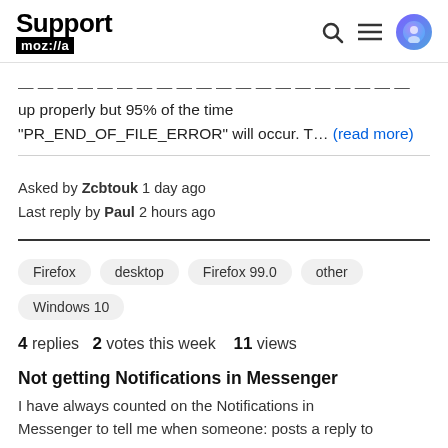Support mozilla:// [search icon] [menu icon] [avatar]
up properly but 95% of the time "PR_END_OF_FILE_ERROR" will occur. T... (read more)
Asked by Zcbtouk 1 day ago
Last reply by Paul 2 hours ago
Firefox
desktop
Firefox 99.0
other
Windows 10
4 replies  2 votes this week  11 views
Not getting Notifications in Messenger
I have always counted on the Notifications in Messenger to tell me when someone: posts a reply to